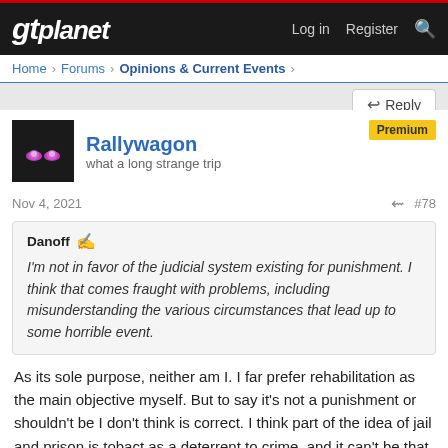gtplanet — Log in  Register
Home > Forums > Opinions & Current Events >
Reply
Rallywagon
what a long strange trip
Premium
Nov 4, 2021   #78
Danoff — I'm not in favor of the judicial system existing for punishment. I think that comes fraught with problems, including misunderstanding the various circumstances that lead up to some horrible event.
As its sole purpose, neither am I. I far prefer rehabilitation as the main objective myself. But to say it's not a punishment or shouldn't be I don't think is correct. I think part of the idea of jail and prison is tobact as a deterrent to crime, and it can't be that without it also being considered a punishment for breaking a law. I am not here to argue the semantics of what laws and how severe the punishment